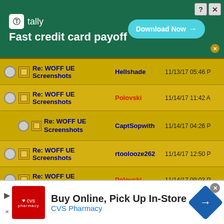[Figure (screenshot): Tally app advertisement banner: dark green background, Tally logo, text 'Fast credit card payoff', cyan 'Download Now' button with arrow, close and help buttons]
| Subject | Author | Date |
| --- | --- | --- |
| Re: WOFF UE Screenshots | Hellshade | 11/13/17 05:46 P |
| Re: WOFF UE Screenshots | Polovski | 11/14/17 11:42 A |
| Re: WOFF UE Screenshots | CaptSopwith | 11/14/17 04:26 P |
| Re: WOFF UE Screenshots | rtoolooze262 | 11/14/17 12:50 P |
| Re: WOFF UE Screenshots | Polovski | 11/14/17 09:03 P |
| Re: WOFF UE Screenshots | Robert_Wiggins | 11/15/17 01:22 P |
| Re: WOFF UE Screenshots | CaptSopwith | 11/16/17 04:24 P |
| Re: WOFF UE Screenshots | Polovski | 11/15/17 04:42 P |
[Figure (screenshot): CVS Pharmacy advertisement: white background, CVS pharmacy logo (red square), text 'Buy Online, Pick Up In-Store', 'CVS Pharmacy', blue navigation diamond icon]